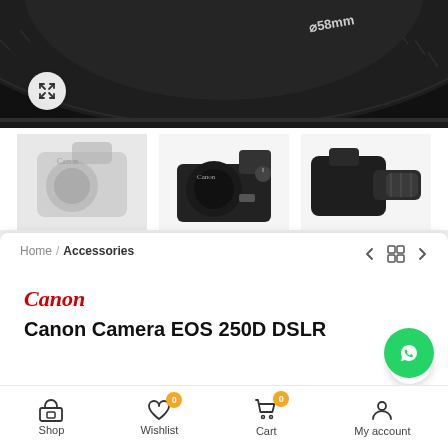[Figure (photo): Close-up top view of Canon camera lens showing 58mm marking, black rubber focus ring texture, dark background]
[Figure (photo): Three Canon EOS 250D DSLR camera views: front view (faded), top view (center, clear), and side view (right, clear) all with 18-55mm kit lens]
Home / Accessories
Canon
Canon Camera EOS 250D DSLR
Shop | Wishlist 0 | Cart 0 | My account